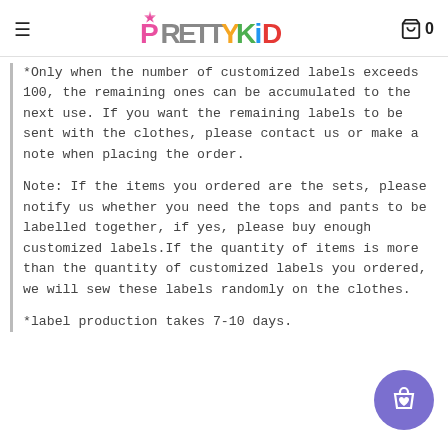PrettyKid  0
*Only when the number of customized labels exceeds 100, the remaining ones can be accumulated to the next use. If you want the remaining labels to be sent with the clothes, please contact us or make a note when placing the order.
Note: If the items you ordered are the sets, please notify us whether you need the tops and pants to be labelled together, if yes, please buy enough customized labels.If the quantity of items is more than the quantity of customized labels you ordered, we will sew these labels randomly on the clothes.
*label production takes 7-10 days.